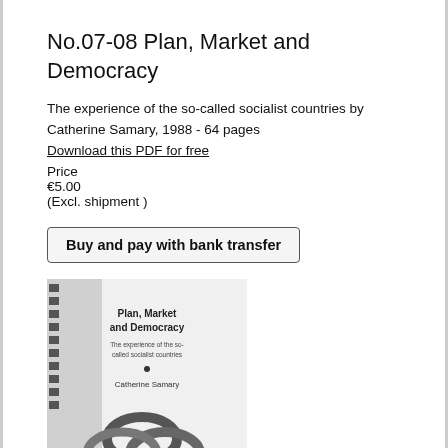No.07-08 Plan, Market and Democracy
The experience of the so-called socialist countries by Catherine Samary, 1988 - 64 pages
Download this PDF for free
Price
€5.00
(Excl. shipment )
Buy and pay with bank transfer
[Figure (photo): Black and white image of the book cover for 'Plan, Market and Democracy' by Catherine Samary, showing a gear/cog graphic on the left spine and interlocking rings/torus shapes at the bottom]